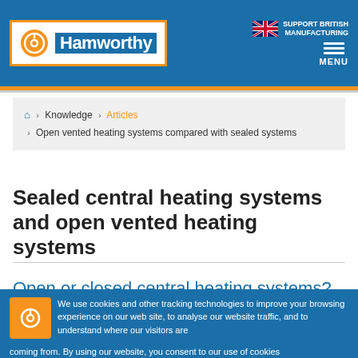Hamworthy | Support British Manufacturing | MENU
Home › Knowledge › Articles › Open vented heating systems compared with sealed systems
Sealed central heating systems and open vented heating systems
Open or closed central heating systems?
We use cookies and other tracking technologies to improve your browsing experience on our web site, to analyse our website traffic, and to understand where our visitors are coming from. By using our website, you consent to our use of cookies